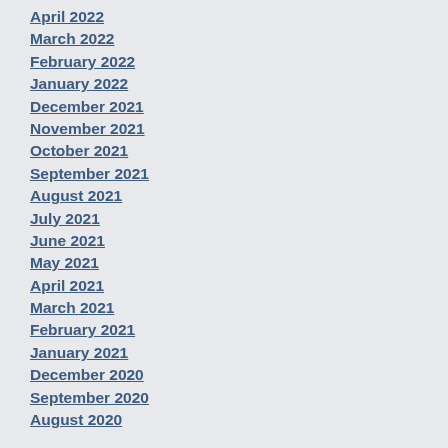April 2022
March 2022
February 2022
January 2022
December 2021
November 2021
October 2021
September 2021
August 2021
July 2021
June 2021
May 2021
April 2021
March 2021
February 2021
January 2021
December 2020
September 2020
August 2020